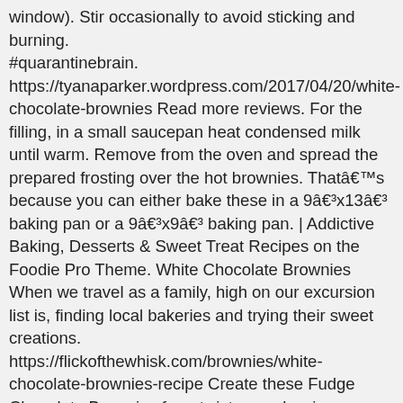window). Stir occasionally to avoid sticking and burning. #quarantinebrain. https://tyanaparker.wordpress.com/2017/04/20/white-chocolate-brownies Read more reviews. For the filling, in a small saucepan heat condensed milk until warm. Remove from the oven and spread the prepared frosting over the hot brownies. Thatâ€™s because you can either bake these in a 9â€³x13â€³ baking pan or a 9â€³x9â€³ baking pan. | Addictive Baking, Desserts & Sweet Treat Recipes on the Foodie Pro Theme. White Chocolate Brownies When we travel as a family, high on our excursion list is, finding local bakeries and trying their sweet creations. https://flickofthewhisk.com/brownies/white-chocolate-brownies-recipe Create these Fudge Chocolate Brownies for a twist on a classic chocolate brownie. You can bake these in a 9â€³x9â€³ baking pan for higher, thicker and chewy brownies. 450g. While baking, the sweetened condensed milk and cream cheese turns into an ooey, gooey hot mess. Straight from the oven to the fridge or cool to room temp first? Melt the butter and white chocolate together over low heat in a saucepan. Welcome to my